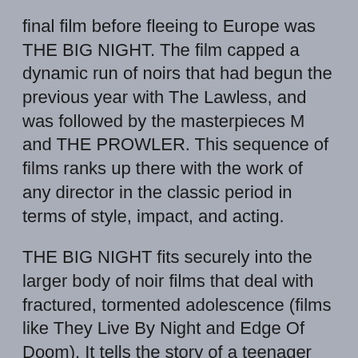final film before fleeing to Europe was THE BIG NIGHT. The film capped a dynamic run of noirs that had begun the previous year with The Lawless, and was followed by the masterpieces M and THE PROWLER. This sequence of films ranks up there with the work of any director in the classic period in terms of style, impact, and acting.
THE BIG NIGHT fits securely into the larger body of noir films that deal with fractured, tormented adolescence (films like They Live By Night and Edge Of Doom). It tells the story of a teenager named George La Main, the bashful son of a bartender named Andy. George is in the bar on his birthday when a man with a cane suddenly walks in and orders his father to disrobe and get down on his hands and knees. With the shocked patrons of the bar looking on, Andy does as he's told and the man proceeds to beat him with the cane. After Andy is